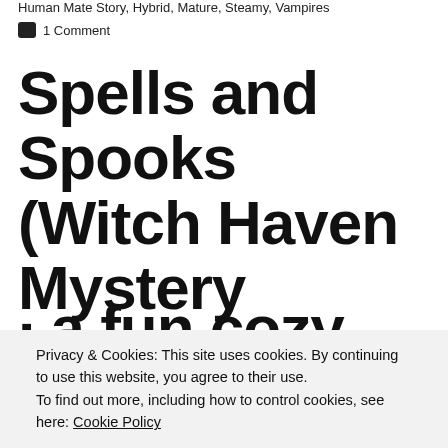Human Mate Story, Hybrid, Mature, Steamy, Vampires
1 Comment
Spells and Spooks (Witch Haven Mystery
Privacy & Cookies: This site uses cookies. By continuing to use this website, you agree to their use. To find out more, including how to control cookies, see here: Cookie Policy
Close and accept